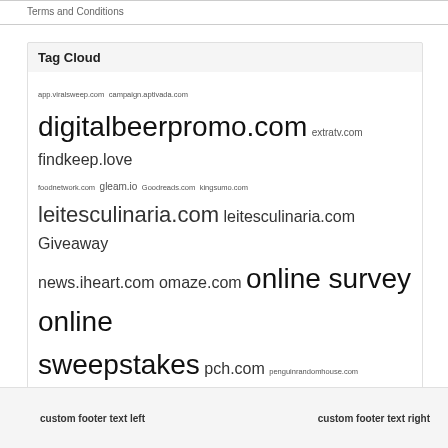Terms and Conditions
Tag Cloud
app.viralsweep.com campaign.aptivada.com digitalbeerpromo.com extratv.com findkeep.love foodnetwork.com gleam.io Goodreads.com kingsumo.com leitesculinaria.com leitesculinaria.com Giveaway news.iheart.com omaze.com online survey online sweepstakes pch.com penguinrandomhouse.com pepsipromos.com read.macmillan.com simonandschuster.com siriusxm.com steamykitchen.com sweepstakes keys thereal.com vast.gg woobox.com www.ellentube.com www.omaze.com www.savings.com www.simonandschuster.com
custom footer text left     custom footer text right